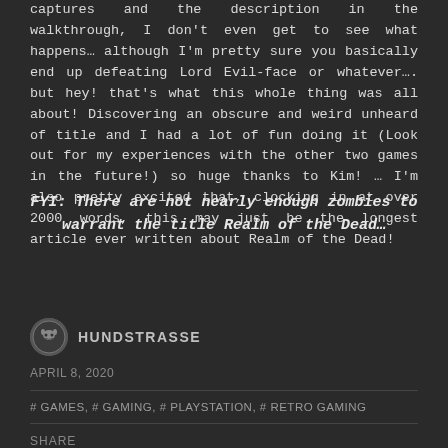captures and the description in the walkthrough, I don't even get to see what happens… although I'm pretty sure you basically end up defeating Lord Evil-face or whatever…. but hey! that's what this whole thing was all about! Discovering an obscure and weird unheard of title and I had a lot of fun doing it (Look out for my experiences with the other two games in the future!) so huge thanks to Kim! … I'm also pretty excited that, clocking in at over 2000 words, this may just be the longest article ever written about Realm of the Dead!
FYI: There are not nearly enough zombies to warrant the title Realm of the Dead…
HUNDSTRASSE
APRIL 8, 2020
# GAMES, # GAMING, # PLAYSTATION, # RETRO GAMING
SHARE